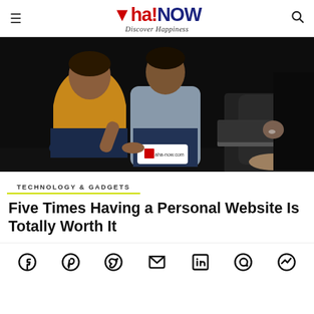Aha!NOW — Discover Happiness
[Figure (photo): Three people sitting together looking at a device, one person pointing at it, with a laptop nearby, dark background, aha-now.com watermark visible]
TECHNOLOGY & GADGETS
Five Times Having a Personal Website Is Totally Worth It
[Figure (other): Social media sharing icons: Facebook, Pinterest, Twitter, Email, LinkedIn, WhatsApp, Messenger]